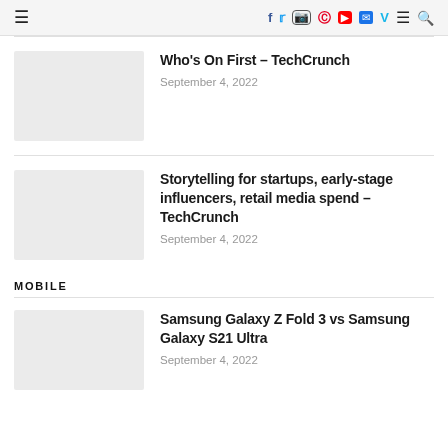≡  f  t  instagram  pinterest  youtube  mail  V  ≡  search
Who's On First – TechCrunch
September 4, 2022
Storytelling for startups, early-stage influencers, retail media spend – TechCrunch
September 4, 2022
MOBILE
Samsung Galaxy Z Fold 3 vs Samsung Galaxy S21 Ultra
September 4, 2022